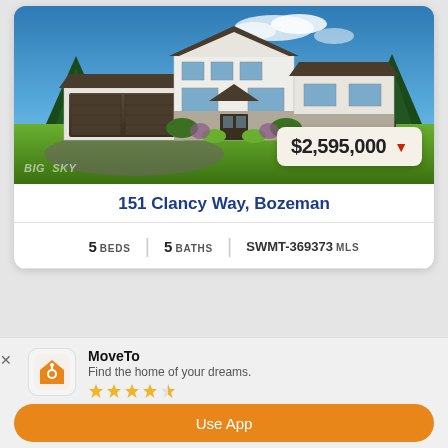[Figure (photo): Exterior rendering of a large two-story modern farmhouse with stone and white siding, three-car garage, surrounded by evergreen trees and green lawn. Price badge shows $2,595,000 with a red down arrow. Watermark reads BIG SKY.]
151 Clancy Way, Bozeman
5 BEDS  5 BATHS  SWMT-369373 MLS
MoveTo
Find the home of your dreams.
★★★★☆
Use App